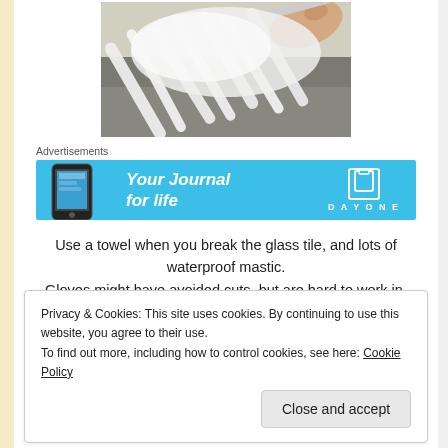[Figure (photo): Hand applying white mastic/adhesive to a tile surface using a notched trowel, creating ridged texture on what appears to be a stone or cement surface.]
Advertisements
[Figure (other): Day One app advertisement banner: blue background with phone mockup on left, italic white text 'Your Journal for life', and DayOne logo/brand on right.]
Use a towel when you break the glass tile, and lots of waterproof mastic. Gloves might have avoided cuts, but are hard to work in.
Privacy & Cookies: This site uses cookies. By continuing to use this website, you agree to their use.
To find out more, including how to control cookies, see here: Cookie Policy
Close and accept